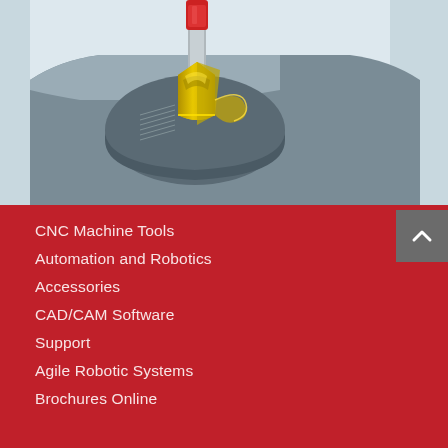[Figure (illustration): 3D rendering of a CNC cutting tool insert (yellow/gold colored carbide insert with red tool holder) cutting into a grey metal workpiece, shown in close-up cross-section view]
CNC Machine Tools
Automation and Robotics
Accessories
CAD/CAM Software
Support
Agile Robotic Systems
Brochures Online